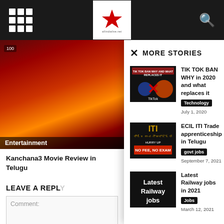More Stories panel — website navigation header with grid menu, star logo, and search icon
[Figure (screenshot): Entertainment thumbnail showing movie poster collage (Kanchana 3 / horror film) with Entertainment label]
Kanchana3 Movie Review in Telugu
LEAVE A REPLY
Comment:
× MORE STORIES
[Figure (screenshot): TikTok Ban article thumbnail: dark background with red X over TikTok logo and orange circle, text 'TIK TOK BAN WHY AND WHAT REPLACES IT']
TIK TOK BAN WHY in 2020 and what replaces it
Technology   July 1, 2020
[Figure (screenshot): ECIL ITI Trade apprenticeship thumbnail: black background with gold ITI text and Telugu text, NO FEE, NO EXAM]
ECIL ITI Trade apprenticeship in Telugu
govt jobs   September 7, 2021
[Figure (screenshot): Latest Railway Jobs thumbnail: black background with white bold text 'Latest Railway jobs']
Latest Railway jobs in 2021
Jobs   March 12, 2021